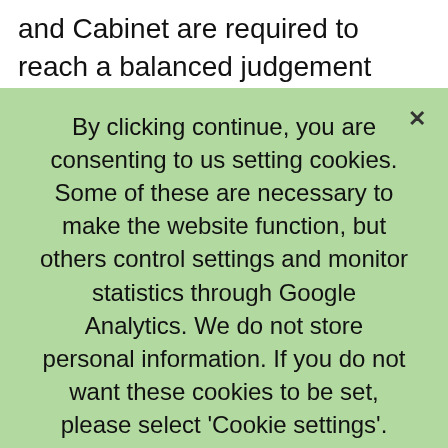and Cabinet are required to reach a balanced judgement over which projects to fund. They are requested to provide an explanation as to how
By clicking continue, you are consenting to us setting cookies. Some of these are necessary to make the website function, but others control settings and monitor statistics through Google Analytics. We do not store personal information. If you do not want these cookies to be set, please select 'Cookie settings'.